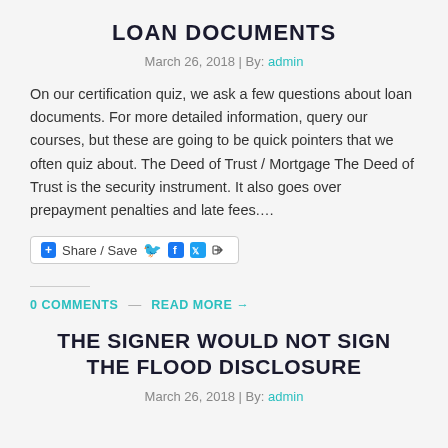LOAN DOCUMENTS
March 26, 2018 | By: admin
On our certification quiz, we ask a few questions about loan documents. For more detailed information, query our courses, but these are going to be quick pointers that we often quiz about. The Deed of Trust / Mortgage The Deed of Trust is the security instrument. It also goes over prepayment penalties and late fees....
[Figure (other): Share / Save button bar with Facebook, Twitter, and share icons]
0 COMMENTS  —  READ MORE →
THE SIGNER WOULD NOT SIGN THE FLOOD DISCLOSURE
March 26, 2018 | By: admin